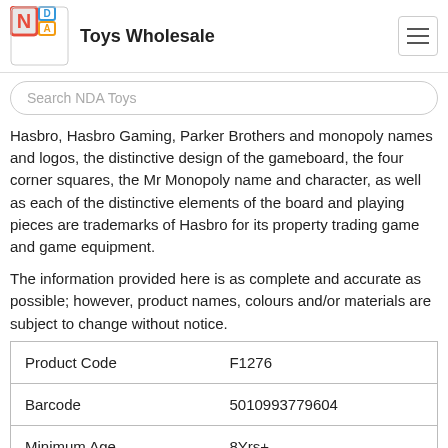Toys Wholesale
Hasbro, Hasbro Gaming, Parker Brothers and monopoly names and logos, the distinctive design of the gameboard, the four corner squares, the Mr Monopoly name and character, as well as each of the distinctive elements of the board and playing pieces are trademarks of Hasbro for its property trading game and game equipment.
The information provided here is as complete and accurate as possible; however, product names, colours and/or materials are subject to change without notice.
| Product Code | F1276 |
| --- | --- |
| Barcode | 5010993779604 |
| Minimum Age | 8Yrs+ |
| First Available | 04th Feb 2021 |